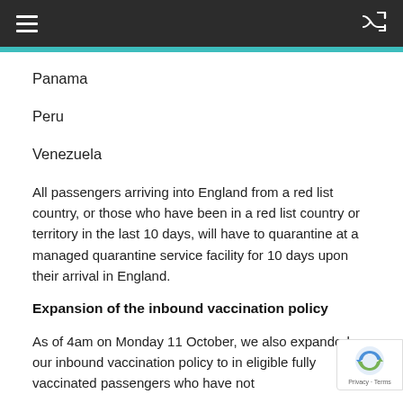≡  [shuffle icon]
Panama
Peru
Venezuela
All passengers arriving into England from a red list country, or those who have been in a red list country or territory in the last 10 days, will have to quarantine at a managed quarantine service facility for 10 days upon their arrival in England.
Expansion of the inbound vaccination policy
As of 4am on Monday 11 October, we also expanded our inbound vaccination policy to in eligible fully vaccinated passengers who have not